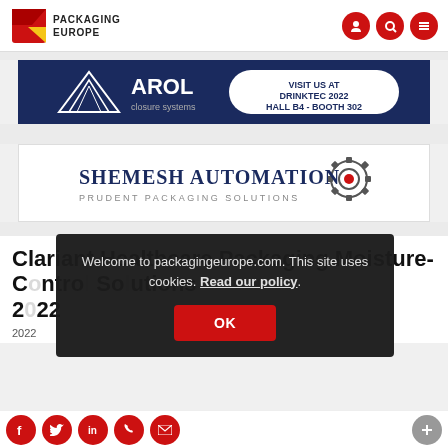PACKAGING EUROPE
[Figure (logo): AROL closure systems - Visit us at Drinktec 2022 Hall B4 - Booth 302 advertisement banner]
[Figure (logo): Shemesh Automation - Prudent Packaging Solutions logo banner]
Clariant Healthcare Packaging Moisture-Control Solutions 2022
2022
Welcome to packagingeurope.com. This site uses cookies. Read our policy.
OK